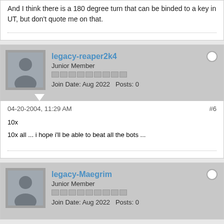And I think there is a 180 degree turn that can be binded to a key in UT, but don't quote me on that.
legacy-reaper2k4
Junior Member
Join Date: Aug 2022   Posts: 0
04-20-2004, 11:29 AM
#6
10x
10x all ... i hope i'll be able to beat all the bots ...
legacy-Maegrim
Junior Member
Join Date: Aug 2022   Posts: 0